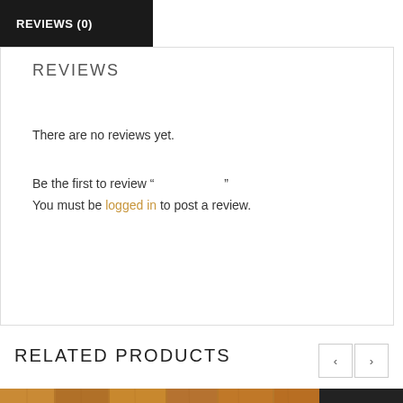REVIEWS (0)
REVIEWS
There are no reviews yet.
Be the first to review “                    ”
You must be logged in to post a review.
RELATED PRODUCTS
[Figure (photo): Product photo showing wood flooring/paneling with a dark mat corner visible, and a circular back-to-top button overlay]